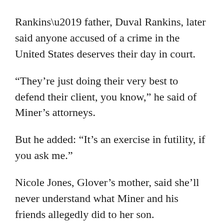Rankins’ father, Duval Rankins, later said anyone accused of a crime in the United States deserves their day in court.
“They’re just doing their very best to defend their client, you know,” he said of Miner’s attorneys.
But he added: “It’s an exercise in futility, if you ask me.”
Nicole Jones, Glover’s mother, said she’ll never understand what Miner and his friends allegedly did to her son.
“I hurt every day,” she said. “I go to work hurting. I come home hurting. I mean it’s just, it’s hard. It’s hard